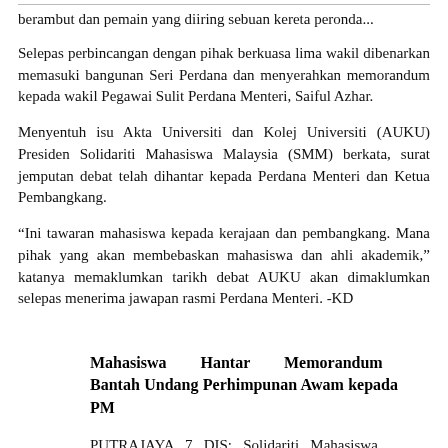berambut dan pemain yang diiring sebuan kereta peronda...
Selepas perbincangan dengan pihak berkuasa lima wakil dibenarkan memasuki bangunan Seri Perdana dan menyerahkan memorandum kepada wakil Pegawai Sulit Perdana Menteri, Saiful Azhar.
Menyentuh isu Akta Universiti dan Kolej Universiti (AUKU) Presiden Solidariti Mahasiswa Malaysia (SMM) berkata, surat jemputan debat telah dihantar kepada Perdana Menteri dan Ketua Pembangkang.
“Ini tawaran mahasiswa kepada kerajaan dan pembangkang. Mana pihak yang akan membebaskan mahasiswa dan ahli akademik,” katanya memaklumkan tarikh debat AUKU akan dimaklumkan selepas menerima jawapan rasmi Perdana Menteri. -KD
Mahasiswa Hantar Memorandum Bantah Undang Perhimpunan Awam kepada PM
PUTRAJAYA 7 DIS: Solidariti Mahasiswa